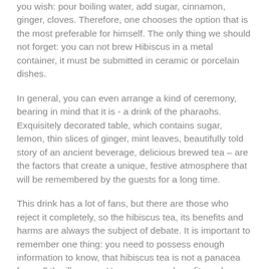you wish: pour boiling water, add sugar, cinnamon, ginger, cloves. Therefore, one chooses the option that is the most preferable for himself. The only thing we should not forget: you can not brew Hibiscus in a metal container, it must be submitted in ceramic or porcelain dishes.
In general, you can even arrange a kind of ceremony, bearing in mind that it is - a drink of the pharaohs. Exquisitely decorated table, which contains sugar, lemon, thin slices of ginger, mint leaves, beautifully told story of an ancient beverage, delicious brewed tea – are the factors that create a unique, festive atmosphere that will be remembered by the guests for a long time.
This drink has a lot of fans, but there are those who reject it completely, so the hibiscus tea, its benefits and harms are always the subject of debate. It is important to remember one thing: you need to possess enough information to know, that hibiscus tea is not a panacea from all the illnesses. However, some benefit can be obtained from the whole.
Useful properties of Hibiscus: